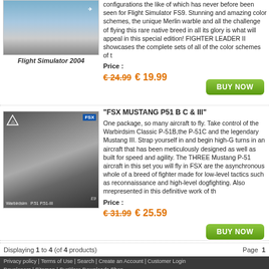[Figure (photo): Aircraft photo for Flight Simulator 2004 product]
Flight Simulator 2004
configurations the like of which has never before been seen for Flight Simulator FS9. Stunning and amazing color schemes, the unique Merlin warble and all the challenge of flying this rare native breed in all its glory is what will appeal in this special edition! FIGHTER LEADER II showcases the complete sets of all of the color schemes of t
Price : € 24.99 € 19.99
[Figure (photo): Aircraft photo for FSX Mustang P51 B C & III product showing WWII fighter plane on ground]
"FSX MUSTANG P51 B C & III"
One package, so many aircraft to fly. Take control of the Warbirdsim Classic P-51B,the P-51C and the legendary Mustang III. Strap yourself in and begin high-G turns in an aircraft that has been meticulously designed as well as built for speed and agility. The THREE Mustang P-51 aircraft in this set you will fly in FSX are the asynchronous whole of a breed of fighter made for low-level tactics such as reconnaissance and high-level dogfighting. Also mrepresented in this definitive work of th
Price : € 31.99 € 25.59
Displaying 1 to 4 (of 4 products)
Page 1
Privacy policy | Terms of Use | Search | Create an Account | Customer Login Developers | Sitemap | SurClaro Downloads Shop FSX General Aviation © Copyright 2022 SurClaro